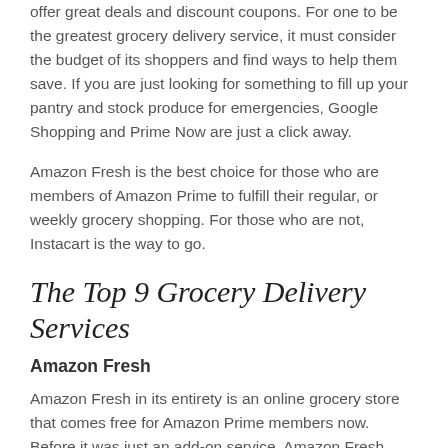offer great deals and discount coupons. For one to be the greatest grocery delivery service, it must consider the budget of its shoppers and find ways to help them save. If you are just looking for something to fill up your pantry and stock produce for emergencies, Google Shopping and Prime Now are just a click away.
Amazon Fresh is the best choice for those who are members of Amazon Prime to fulfill their regular, or weekly grocery shopping. For those who are not, Instacart is the way to go.
The Top 9 Grocery Delivery Services
Amazon Fresh
Amazon Fresh in its entirety is an online grocery store that comes free for Amazon Prime members now. Before it was just an add-on service. Amazon Fresh offers a wide variety of goods like an actual, physical grocery store; from fresh produce, meat, seafood, to household goods such as cleaning supplies to